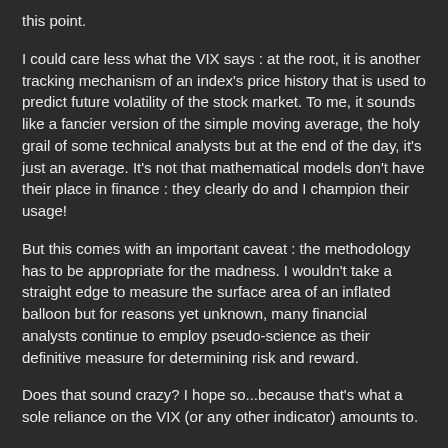this point.
I could care less what the VIX says : at the root, it is another tracking mechanism of an index's price history that is used to predict future volatility of the stock market. To me, it sounds like a fancier version of the simple moving average, the holy grail of some technical analysts but at the end of the day, it's just an average. It's not that mathematical models don't have their place in finance : they clearly do and I champion their usage!
But this comes with an important caveat : the methodology has to be appropriate for the madness. I wouldn't take a straight edge to measure the surface area of an inflated balloon but for reasons yet unknown, many financial analysts continue to employ pseudo-science as their definitive measure for determining risk and reward.
Does that sound crazy? I hope so...because that's what a sole reliance on the VIX (or any other indicator) amounts to.
[Figure (other): Tweet button]